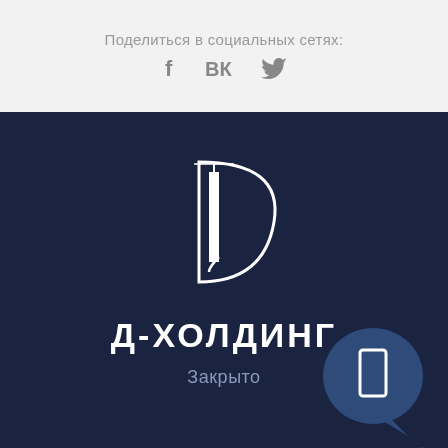Поделиться в социальных сетях:
[Figure (illustration): Social media icons: Facebook (f), VK (VK), Twitter (bird)]
[Figure (logo): D-Holding logo: stylized letter D with a building/tower element inside on dark navy background]
Д-ХОЛДИНГ
Закрыто
[Figure (illustration): Chat bubble icon with a door/phone icon inside, dark blue rounded speech bubble]
[Figure (illustration): Scroll up arrow chevron at bottom right corner]